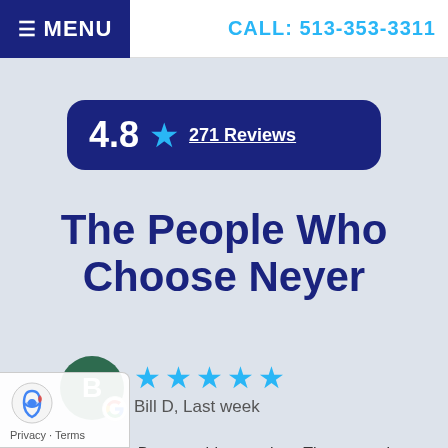MENU | CALL: 513-353-3311
4.8 ★ 271 Reviews
The People Who Choose Neyer
Bill D, Last week
Had Rusty and Dre out this morning. These gentlemen were on time and on point. Quick and